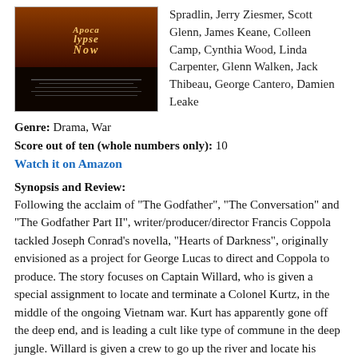[Figure (photo): Movie poster for Apocalypse Now with dark background and stylized text]
Spradlin, Jerry Ziesmer, Scott Glenn, James Keane, Colleen Camp, Cynthia Wood, Linda Carpenter, Glenn Walken, Jack Thibeau, George Cantero, Damien Leake
Genre: Drama, War
Score out of ten (whole numbers only): 10
Watch it on Amazon
Synopsis and Review:
Following the acclaim of "The Godfather", "The Conversation" and "The Godfather Part II", writer/producer/director Francis Coppola tackled Joseph Conrad's novella, "Hearts of Darkness", originally envisioned as a project for George Lucas to direct and Coppola to produce. The story focuses on Captain Willard, who is given a special assignment to locate and terminate a Colonel Kurtz, in the middle of the ongoing Vietnam war. Kurt has apparently gone off the deep end, and is leading a cult like type of commune in the deep jungle. Willard is given a crew to go up the river and locate his compound, and execute his mission. While on his journey, Willard and his...